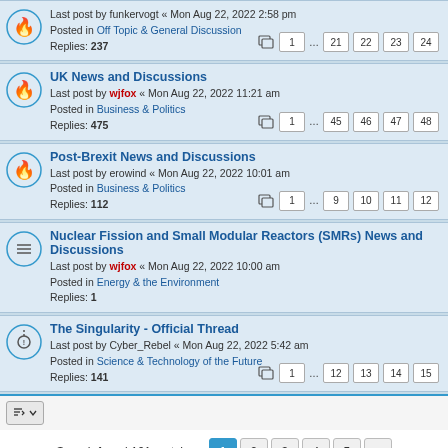Last post by funkervogt « Mon Aug 22, 2022 2:58 pm
Posted in Off Topic & General Discussion
Replies: 237
Pages: 1 ... 21 22 23 24
UK News and Discussions
Last post by wjfox « Mon Aug 22, 2022 11:21 am
Posted in Business & Politics
Replies: 475
Pages: 1 ... 45 46 47 48
Post-Brexit News and Discussions
Last post by erowind « Mon Aug 22, 2022 10:01 am
Posted in Business & Politics
Replies: 112
Pages: 1 ... 9 10 11 12
Nuclear Fission and Small Modular Reactors (SMRs) News and Discussions
Last post by wjfox « Mon Aug 22, 2022 10:00 am
Posted in Energy & the Environment
Replies: 1
The Singularity - Official Thread
Last post by Cyber_Rebel « Mon Aug 22, 2022 5:42 am
Posted in Science & Technology of the Future
Replies: 141
Pages: 1 ... 12 13 14 15
Search found 101 matches  1 2 3 4 5 >
Jump to